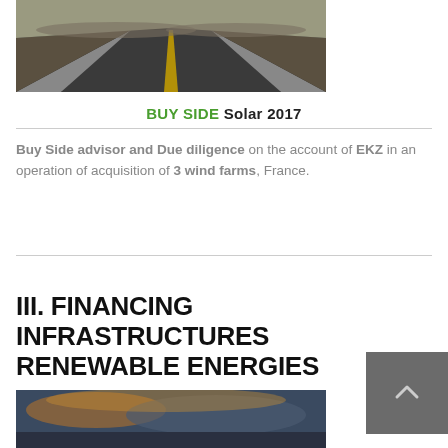[Figure (photo): Aerial view of a road with yellow center line, dark asphalt, dry landscape on sides]
BUY SIDE Solar 2017
Buy Side advisor and Due diligence on the account of EKZ in an operation of acquisition of 3 wind farms, France.
III. FINANCING INFRASTRUCTURES RENEWABLE ENERGIES
[Figure (photo): Sunset or dusk sky with clouds, bottom portion of page]